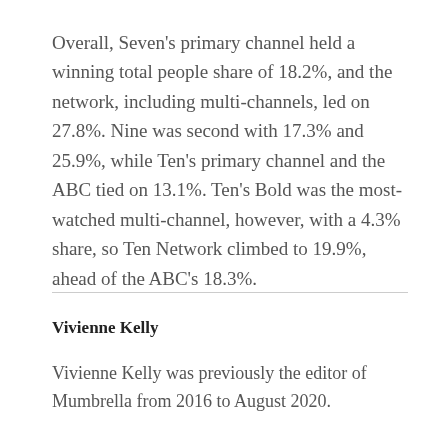Overall, Seven's primary channel held a winning total people share of 18.2%, and the network, including multi-channels, led on 27.8%. Nine was second with 17.3% and 25.9%, while Ten's primary channel and the ABC tied on 13.1%. Ten's Bold was the most-watched multi-channel, however, with a 4.3% share, so Ten Network climbed to 19.9%, ahead of the ABC's 18.3%.
Vivienne Kelly
Vivienne Kelly was previously the editor of Mumbrella from 2016 to August 2020.